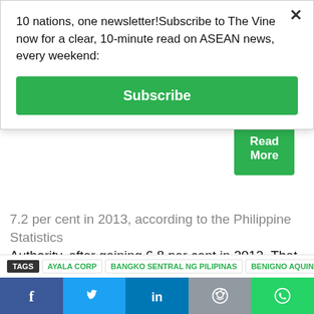10 nations, one newsletter!Subscribe to The Vine now for a clear, 10-minute read on ASEAN news, every weekend:
[Figure (screenshot): Green Subscribe button]
7.2 per cent in 2013, according to the Philippine Statistics Authority, after gaining 6.8 per cent in 2012. That was the fastest two-year pace since 1954-1955, statistics show. A recovery in advanced economies may help President Benigno Aquino achieve his goal of bolstering growth to as much as 8.5 per cent by 2016 as he transforms the country...
[Figure (screenshot): Green Read More button]
TAGS | AYALA CORP | BANGKO SENTRAL NG PILIPINAS | BENIGNO AQUINO
[Figure (infographic): Social share bar with Facebook, Twitter, LinkedIn, Reddit, WhatsApp buttons]